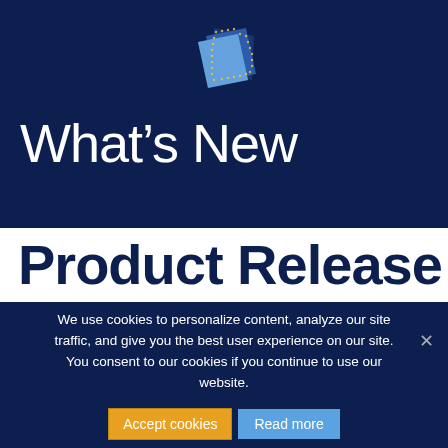[Figure (logo): 3D layered document/paper stack logo icon with blue and white layers and dotted grid pattern, on dark navy background]
What's New
Product Release
We use cookies to personalize content, analyze our site traffic, and give you the best user experience on our site. You consent to our cookies if you continue to use our website.
Accept cookies  Read more